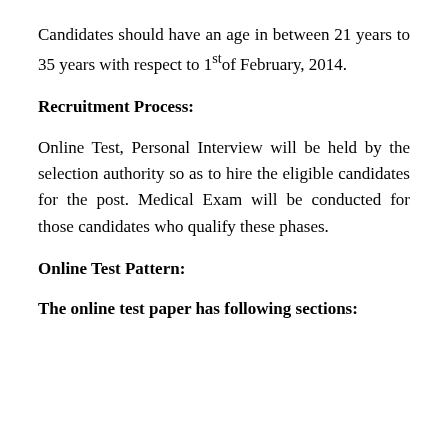Candidates should have an age in between 21 years to 35 years with respect to 1st of February, 2014.
Recruitment Process:
Online Test, Personal Interview will be held by the selection authority so as to hire the eligible candidates for the post. Medical Exam will be conducted for those candidates who qualify these phases.
Online Test Pattern:
The online test paper has following sections: